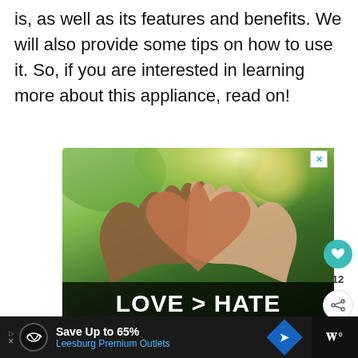is, as well as its features and benefits. We will also provide some tips on how to use it. So, if you are interested in learning more about this appliance, read on!
[Figure (photo): Advertisement image showing two hands of different skin tones forming a heart shape together against a green forest background, with white bold text 'LOVE > HATE' at the bottom. Has a close (X) button in the top right corner.]
12
Save Up to 65% Leesburg Premium Outlets